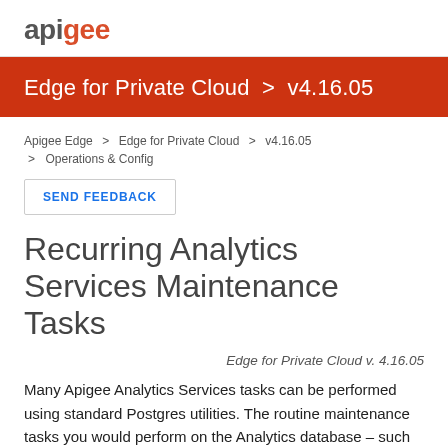apigee
Edge for Private Cloud > v4.16.05
Apigee Edge > Edge for Private Cloud > v4.16.05 > Operations & Config
SEND FEEDBACK
Recurring Analytics Services Maintenance Tasks
Edge for Private Cloud v. 4.16.05
Many Apigee Analytics Services tasks can be performed using standard Postgres utilities. The routine maintenance tasks you would perform on the Analytics database – such